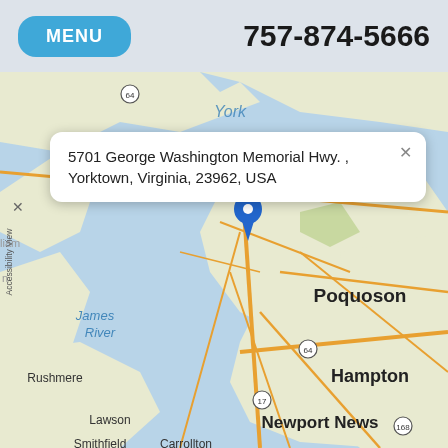MENU  757-874-5666
[Figure (map): Street map showing Yorktown, Poquoson, Hampton, Newport News, James River, Rushmere, Lawson, Smithfield, Carrollton area in Virginia. A blue location pin is placed on the map near Poquoson.]
5701 George Washington Memorial Hwy. , Yorktown, Virginia, 23962, USA